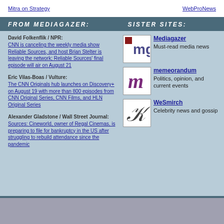Mitra on Strategy | WebProNews
FROM MEDIAGAZER: | SISTER SITES:
David Folkenflik / NPR: CNN is canceling the weekly media show Reliable Sources, and host Brian Stelter is leaving the network; Reliable Sources' final episode will air on August 21
Eric Vilas-Boas / Vulture: The CNN Originals hub launches on Discovery+ on August 19 with more than 800 episodes from CNN Original Series, CNN Films, and HLN Original Series
Alexander Gladstone / Wall Street Journal: Sources: Cineworld, owner of Regal Cinemas, is preparing to file for bankruptcy in the US after struggling to rebuild attendance since the pandemic
[Figure (logo): Mediagazer mg logo - dark red mg on white background]
Mediagazer Must-read media news
[Figure (logo): memeorandum m logo - purple/maroon m on white background]
memeorandum Politics, opinion, and current events
[Figure (logo): WeSmirch w logo - cursive w on white background]
WeSmirch Celebrity news and gossip